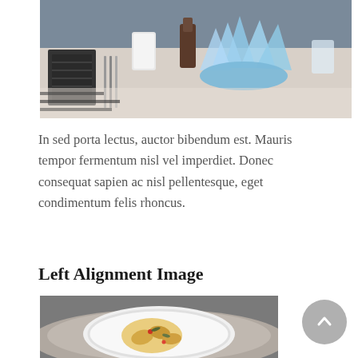[Figure (photo): Restaurant table setting with a light blue folded napkin and silverware on a white tablecloth]
In sed porta lectus, auctor bibendum est. Mauris tempor fermentum nisl vel imperdiet. Donec consequat sapien ac nisl pellentesque, eget condimentum felis rhoncus.
Left Alignment Image
[Figure (photo): Overhead view of a white plate with food (shrimp/seafood dish) on a gray linen cloth on a wooden surface]